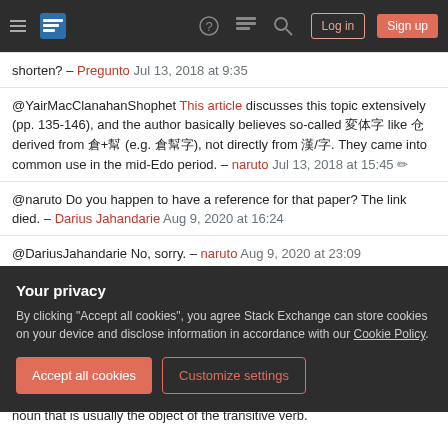Stack Exchange navigation bar with hamburger, logo, help, chat, search, Log in, Sign up buttons
shorten? – Pregunto Jul 13, 2018 at 9:35
@YairMacClanahan​Shophet This article discusses this topic extensively (pp. 135-146), and the author basically believes so-called [kanji] like [kanji] derived from [kanji]+[kanji] (e.g. [kanji]), not directly from [kanji]/[kanji]. They came into common use in the mid-Edo period. – naruto Jul 13, 2018 at 15:45
@naruto Do you happen to have a reference for that paper? The link died. – Darius Jahandarie Aug 9, 2020 at 16:24
@DariusJahandarie No, sorry. – naruto Aug 9, 2020 at 23:09
Your privacy
By clicking "Accept all cookies", you agree Stack Exchange can store cookies on your device and disclose information in accordance with our Cookie Policy.
Accept all cookies
Customize settings
noun that is usually the object of the transitive verb.